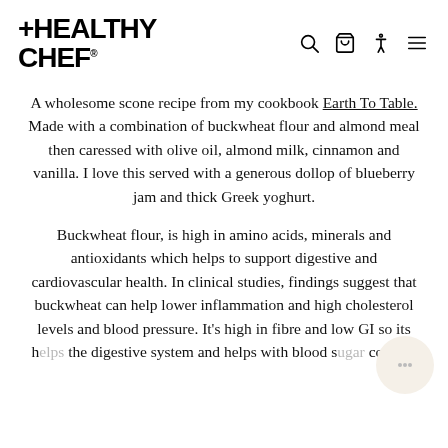+HEALTHY CHEF
A wholesome scone recipe from my cookbook Earth To Table. Made with a combination of buckwheat flour and almond meal then caressed with olive oil, almond milk, cinnamon and vanilla. I love this served with a generous dollop of blueberry jam and thick Greek yoghurt.
Buckwheat flour, is high in amino acids, minerals and antioxidants which helps to support digestive and cardiovascular health. In clinical studies, findings suggest that buckwheat can help lower inflammation and high cholesterol levels and blood pressure. It's high in fibre and low GI so its helps the digestive system and helps with blood sugar control.